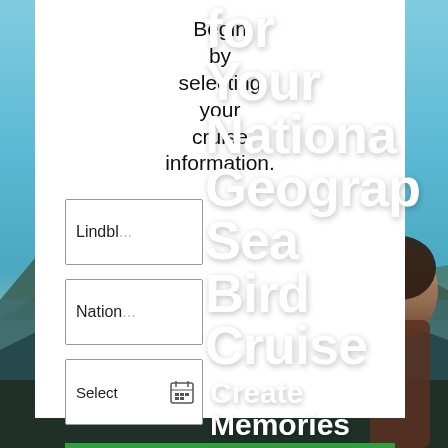[Figure (photo): Scenic background photo showing blue sky, mountains, and water (fjord or coastal scene). A person is visible on the right side. This is a travel/cruise promotional page.]
Begin by selecting your cruise information.
Lindbl...
Nation...
Select (date picker icon)
FIND EXCURSIONS
for Your National Geographic Sea Bird Cruise
Create Memories